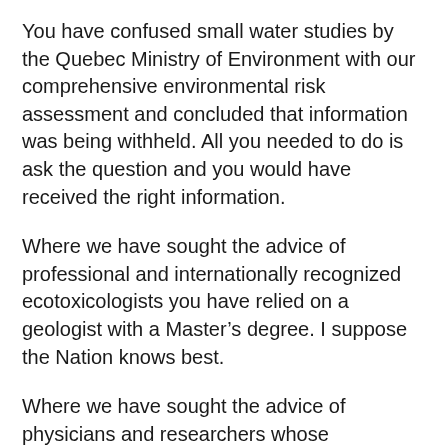You have confused small water studies by the Quebec Ministry of Environment with our comprehensive environmental risk assessment and concluded that information was being withheld. All you needed to do is ask the question and you would have received the right information.
Where we have sought the advice of professional and internationally recognized ecotoxicologists you have relied on a geologist with a Master’s degree. I suppose the Nation knows best.
Where we have sought the advice of physicians and researchers whose professional careers focus on such issues you have relied on a retired political scientist for medical advice. I suppose the Nation knows best.